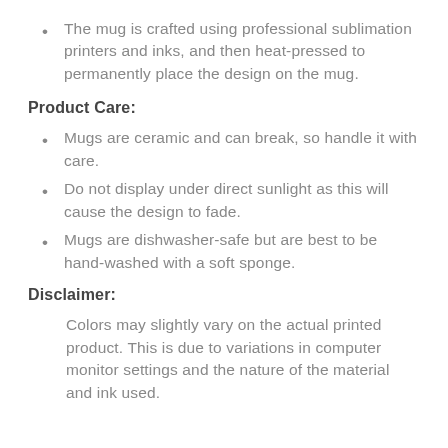The mug is crafted using professional sublimation printers and inks, and then heat-pressed to permanently place the design on the mug.
Product Care:
Mugs are ceramic and can break, so handle it with care.
Do not display under direct sunlight as this will cause the design to fade.
Mugs are dishwasher-safe but are best to be hand-washed with a soft sponge.
Disclaimer:
Colors may slightly vary on the actual printed product. This is due to variations in computer monitor settings and the nature of the material and ink used.